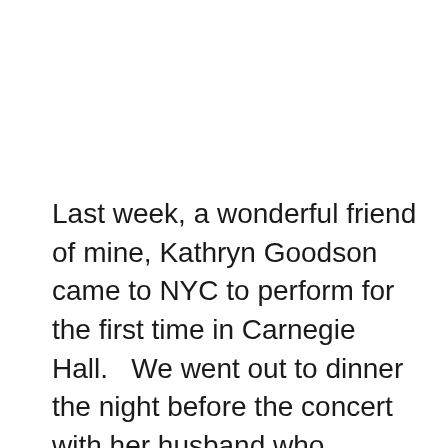Last week, a wonderful friend of mine, Kathryn Goodson came to NYC to perform for the first time in Carnegie Hall.   We went out to dinner the night before the concert with her husband who happens to be the Mayor of Ann Arbor, MI. (Mayor John Hieftje)  That of course makes her the first lady